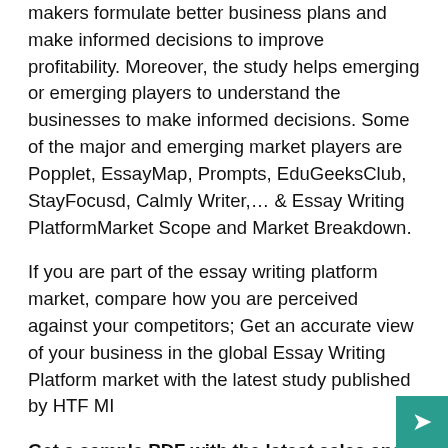makers formulate better business plans and make informed decisions to improve profitability. Moreover, the study helps emerging or emerging players to understand the businesses to make informed decisions. Some of the major and emerging market players are Popplet, EssayMap, Prompts, EduGeeksClub, StayFocusd, Calmly Writer,… & Essay Writing PlatformMarket Scope and Market Breakdown.
If you are part of the essay writing platform market, compare how you are perceived against your competitors; Get an accurate view of your business in the global Essay Writing Platform market with the latest study published by HTF MI
Get a sample PDF with the latest sales and